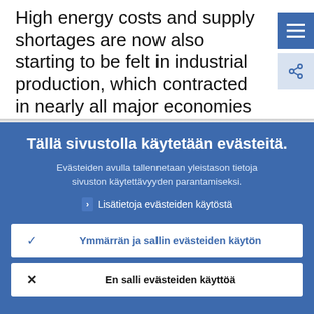High energy costs and supply shortages are now also starting to be felt in industrial production, which contracted in nearly all major economies in March.
Tällä sivustolla käytetään evästeitä.
Evästeiden avulla tallennetaan yleistason tietoja sivuston käytettävyyden parantamiseksi.
Lisätietoja evästeiden käytöstä
Ymmärrän ja sallin evästeiden käytön
En salli evästeiden käyttöä